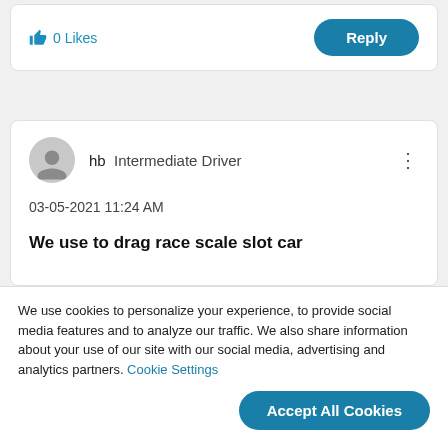0 Likes
Reply
hb  Intermediate Driver
03-05-2021 11:24 AM
We use to drag race scale slot car
We use cookies to personalize your experience, to provide social media features and to analyze our traffic. We also share information about your use of our site with our social media, advertising and analytics partners. Cookie Settings
Accept All Cookies